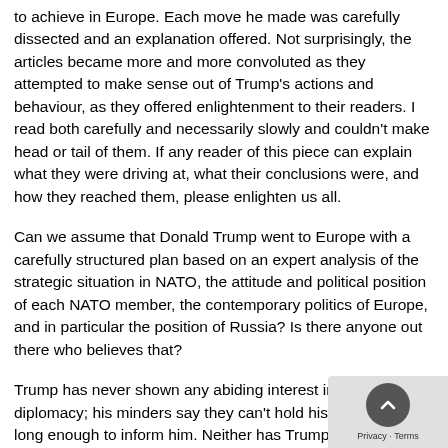to achieve in Europe. Each move he made was carefully dissected and an explanation offered. Not surprisingly, the articles became more and more convoluted as they attempted to make sense out of Trump's actions and behaviour, as they offered enlightenment to their readers. I read both carefully and necessarily slowly and couldn't make head or tail of them. If any reader of this piece can explain what they were driving at, what their conclusions were, and how they reached them, please enlighten us all.
Can we assume that Donald Trump went to Europe with a carefully structured plan based on an expert analysis of the strategic situation in NATO, the attitude and political position of each NATO member, the contemporary politics of Europe, and in particular the position of Russia? Is there anyone out there who believes that?
Trump has never shown any abiding interest in international diplomacy; his minders say they can't hold his attention for long enough to inform him. Neither has Trump given the impression that his actions are carefully planned with the intention of achieving specified objectives. He prefers to free wheel and rely on his instincts to guide him, as he has done in business and as host of his TV reality-show. He is accustomed to relying on his best guesses to get him through. And if he slips up, he believes he can easily extract